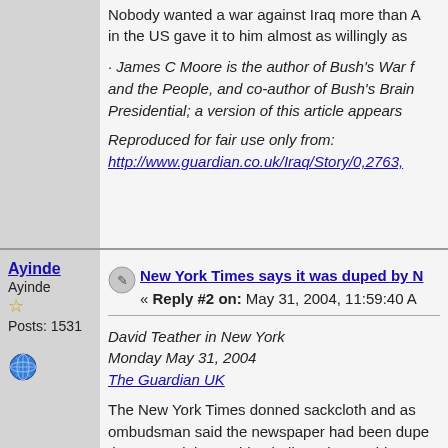Nobody wanted a war against Iraq more than A... in the US gave it to him almost as willingly as...
· James C Moore is the author of Bush's War f... and the People, and co-author of Bush's Brain... Presidential; a version of this article appears...
Reproduced for fair use only from:
http://www.guardian.co.uk/Iraq/Story/0,2763,...
Ayinde
Ayinde
Posts: 1531
New York Times says it was duped by N...
« Reply #2 on: May 31, 2004, 11:59:40 A...
David Teather in New York
Monday May 31, 2004
The Guardian UK
The New York Times donned sackcloth and as... ombudsman said the newspaper had been dupe... that wanted the world to believe that Saddam h... destruction.